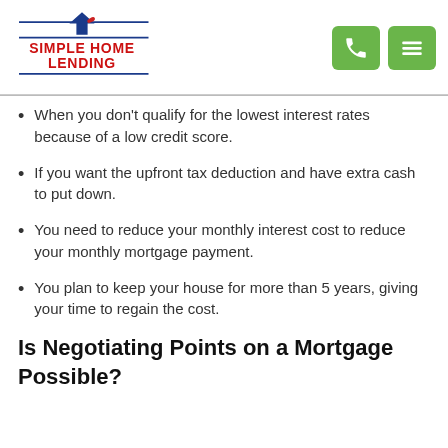[Figure (logo): Simple Home Lending logo with blue house icon and blue horizontal lines, red bold text reading SIMPLE HOME LENDING]
When you don't qualify for the lowest interest rates because of a low credit score.
If you want the upfront tax deduction and have extra cash to put down.
You need to reduce your monthly interest cost to reduce your monthly mortgage payment.
You plan to keep your house for more than 5 years, giving your time to regain the cost.
Is Negotiating Points on a Mortgage Possible?